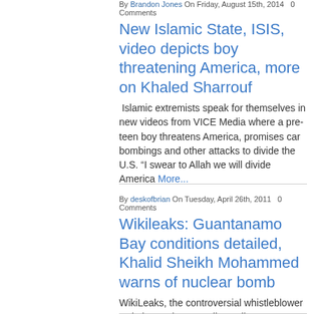By Brandon Jones On Friday, August 15th, 2014   0 Comments
New Islamic State, ISIS, video depicts boy threatening America, more on Khaled Sharrouf
Islamic extremists speak for themselves in new videos from VICE Media where a pre-teen boy threatens America, promises car bombings and other attacks to divide the U.S. “I swear to Allah we will divide America More…
By deskofbrian On Tuesday, April 26th, 2011   0 Comments
Wikileaks: Guantanamo Bay conditions detailed, Khalid Sheikh Mohammed warns of nuclear bomb
WikiLeaks, the controversial whistleblower website run by Australian Julian Assange, has released yet another cache of highly secret, highly controversial documents – this time about the U.S. detention facility More...